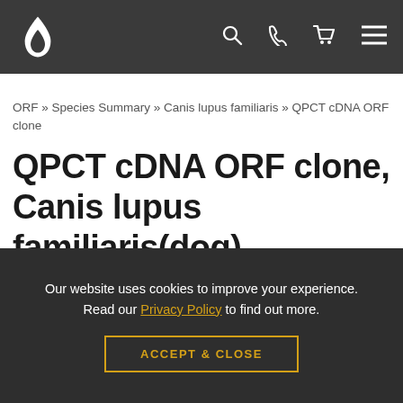QPCT cDNA ORF clone – Origene navigation bar
ORF » Species Summary » Canis lupus familiaris » QPCT cDNA ORF clone
QPCT cDNA ORF clone, Canis lupus familiaris(dog)
Gene | Clones | gRNAs
Our website uses cookies to improve your experience. Read our Privacy Policy to find out more. ACCEPT & CLOSE